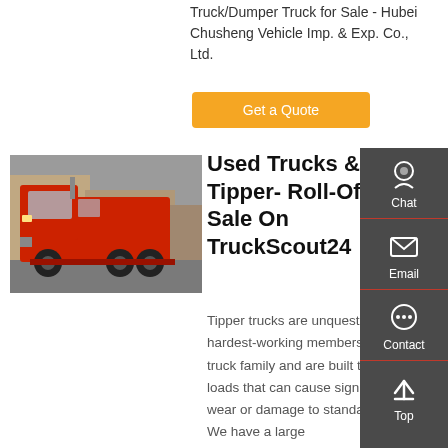Truck/Dumper Truck for Sale - Hubei Chusheng Vehicle Imp. & Exp. Co., Ltd.
Get a Quote
[Figure (photo): Red heavy truck (tipper/semi-truck) parked in a yard with buildings in background]
Used Trucks & Tipper- Roll-Off For Sale On TruckScout24
Tipper trucks are unquestionably the hardest-working members of the truck family and are built to carry loads that can cause significant wear or damage to standard lorries. We have a large
Chat
Email
Contact
Top